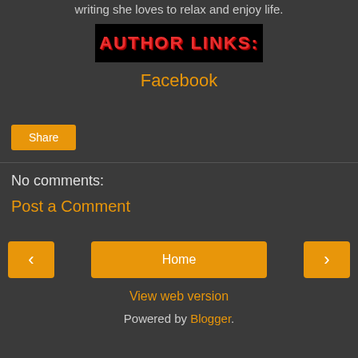writing she loves to relax and enjoy life.
[Figure (illustration): Black banner image with stylized red graffiti-style text reading 'AUTHOR LINKS:']
Facebook
Share
No comments:
Post a Comment
Home
View web version
Powered by Blogger.